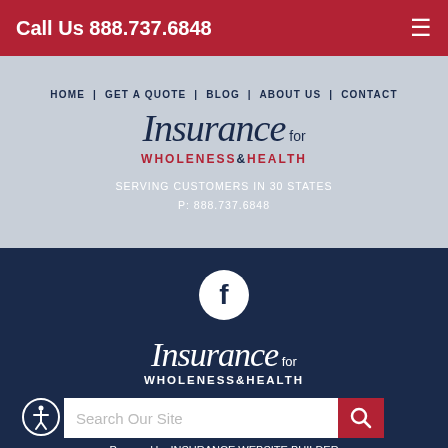Call Us 888.737.6848
[Figure (logo): Insurance for Wholeness & Health logo with navigation links: HOME | GET A QUOTE | BLOG | ABOUT US | CONTACT]
SERVING CUSTOMERS IN 30 STATES
P: 888.737.6848
[Figure (logo): Facebook social icon circle]
[Figure (logo): Insurance for Wholeness & Health logo in white on dark navy background]
Search Our Site
Powered by INSURANCE WEBSITE BUILDER